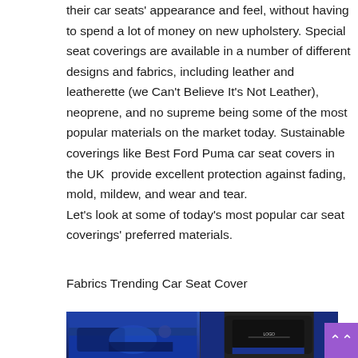their car seats' appearance and feel, without having to spend a lot of money on new upholstery. Special seat coverings are available in a number of different designs and fabrics, including leather and leatherette (we Can't Believe It's Not Leather), neoprene, and no supreme being some of the most popular materials on the market today. Sustainable coverings like Best Ford Puma car seat covers in the UK  provide excellent protection against fading, mold, mildew, and wear and tear. Let's look at some of today's most popular car seat coverings' preferred materials.
Fabrics Trending Car Seat Cover
[Figure (photo): Two side-by-side photos of car interiors with blue and black seat covers. Left image shows car interior with blue floor mats and seat covers. Right image shows a black car seat headrest with a logo and blue accent colors.]